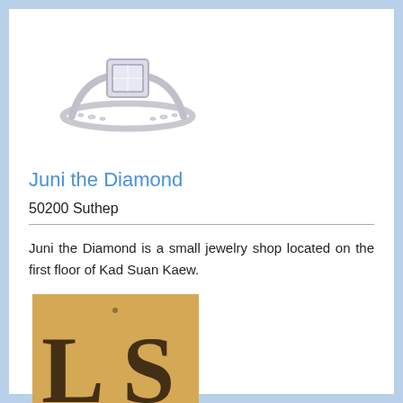[Figure (photo): A diamond engagement ring with white gold band and square halo setting, photographed on white background]
Juni the Diamond
50200 Suthep
Juni the Diamond is a small jewelry shop located on the first floor of Kad Suan Kaew.
[Figure (logo): Partial logo image on golden/yellow background showing letters 'L S' and text 'CONTEM' at the bottom, appears to be a store or brand logo]